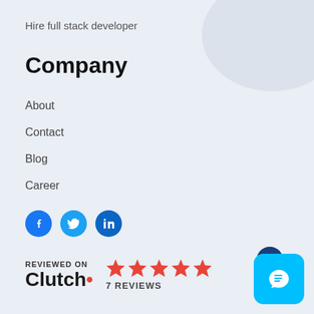Hire full stack developer
Company
About
Contact
Blog
Career
[Figure (illustration): Three social media icon circles: Facebook (blue), Twitter (light blue), LinkedIn (dark blue)]
[Figure (logo): Clutch review badge with 5 red stars and text '7 REVIEWS', with 'REVIEWED ON' above and 'Clutch' logo with red dot]
[Figure (illustration): Cyan chat widget button in bottom right corner with speech bubble icon, dark blue circle behind it]